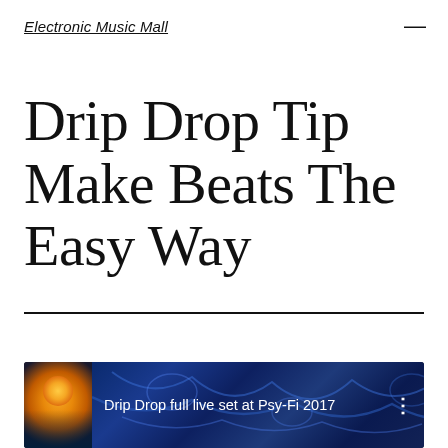Electronic Music Mall
Drip Drop Tip Make Beats The Easy Way
[Figure (screenshot): YouTube video embed showing 'Drip Drop full live set at Psy-Fi 2017' with a thumbnail of a sun/festival scene on the left and a dark blue psychedelic pattern background]